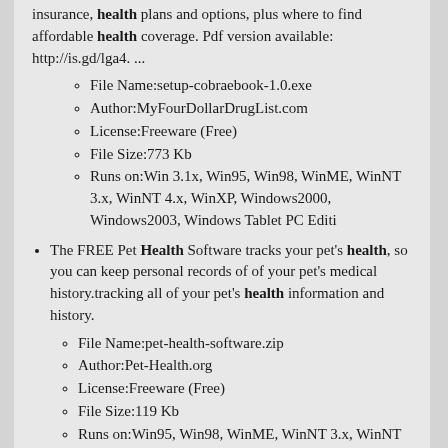insurance, health plans and options, plus where to find affordable health coverage. Pdf version available: http://is.gd/lga4. ...
File Name:setup-cobraebook-1.0.exe
Author:MyFourDollarDrugList.com
License:Freeware (Free)
File Size:773 Kb
Runs on:Win 3.1x, Win95, Win98, WinME, WinNT 3.x, WinNT 4.x, WinXP, Windows2000, Windows2003, Windows Tablet PC Editi
The FREE Pet Health Software tracks your pet's health, so you can keep personal records of of your pet's medical history.tracking all of your pet's health information and history.
File Name:pet-health-software.zip
Author:Pet-Health.org
License:Freeware (Free)
File Size:119 Kb
Runs on:Win95, Win98, WinME, WinNT 3.x, WinNT 4.x, WinXP, Windows2000, Windows2003,